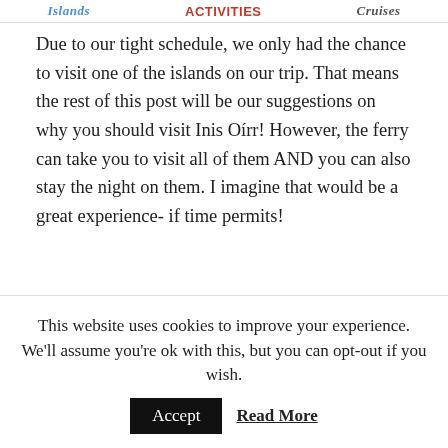[Figure (screenshot): Navigation banner with tabs: Islands, Activities (in red), Cruises]
Due to our tight schedule, we only had the chance to visit one of the islands on our trip. That means the rest of this post will be our suggestions on why you should visit Inis Oírr! However, the ferry can take you to visit all of them AND you can also stay the night on them. I imagine that would be a great experience- if time permits!
Inis Oírr: The smallest of the Aran Islands
This website uses cookies to improve your experience. We'll assume you're ok with this, but you can opt-out if you wish.